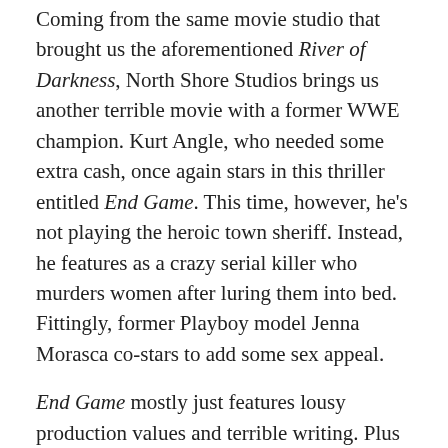Coming from the same movie studio that brought us the aforementioned River of Darkness, North Shore Studios brings us another terrible movie with a former WWE champion. Kurt Angle, who needed some extra cash, once again stars in this thriller entitled End Game. This time, however, he's not playing the heroic town sheriff. Instead, he features as a crazy serial killer who murders women after luring them into bed. Fittingly, former Playboy model Jenna Morasca co-stars to add some sex appeal.
End Game mostly just features lousy production values and terrible writing. Plus a creepy looking Angle lurking in the shadows and trying to be a straight-up womanizer — and then murder said, women. Don't waste your time. Instead, marvel at this ridiculous trailer!